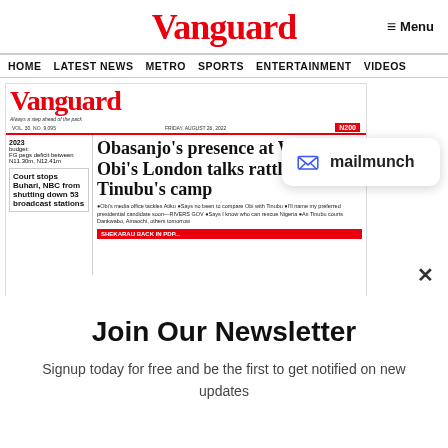Vanguard
Menu
HOME  LATEST NEWS  METRO  SPORTS  ENTERTAINMENT  VIDEOS
[Figure (screenshot): Vanguard newspaper front page showing headline 'Obasanjo's presence at Wike-Obi's London talks rattles Tinubu's camp' with subheadings about 2023 budget and court stopping Buhari, NBC from shutting down 53 broadcast stations. A mailmunch popup overlay is visible with logo and brand name.]
Join Our Newsletter
Signup today for free and be the first to get notified on new updates